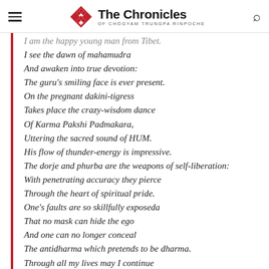The Chronicles of Chogyam Trungpa Rinpoche
I am the happy young man from Tibet.
I see the dawn of mahamudra
And awaken into true devotion:
The guru's smiling face is ever present.
On the pregnant dakini-tigress
Takes place the crazy-wisdom dance
Of Karma Pakshi Padmakara,
Uttering the sacred sound of HUM.
His flow of thunder-energy is impressive.
The dorje and phurba are the weapons of self-liberation:
With penetrating accuracy they pierce
Through the heart of spiritual pride.
One's faults are so skillfully exposeda
That no mask can hide the ego
And one can no longer conceal
The antidharma which pretends to be dharma.
Through all my lives may I continue